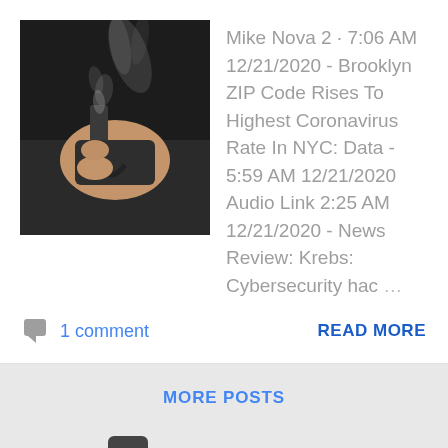[Figure (photo): A hand holding a gun with smoke coming from the barrel, dark background]
Mike Nova 2 · 7:06 AM 12/21/2020 - Brooklyn ZIP Code Rises To Highest Coronavirus Rate In NYC: Data  -  5:59 AM 12/21/2020 Audio Link 2:25 AM 12/21/2020 - News Review: Krebs: Cybersecurity hac ...
1 comment
READ MORE
MORE POSTS
Powered by Blogger
Theme images by lobaaaato
The Brooklyn News And Times Blog